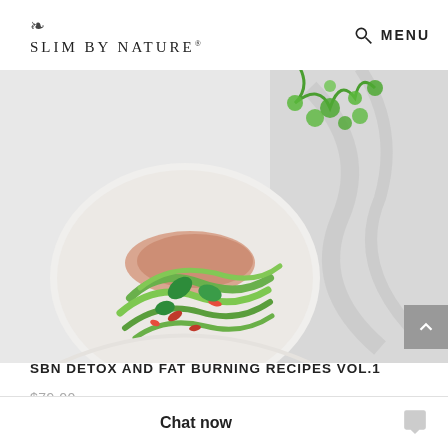SLIM BY NATURE®  MENU
[Figure (photo): A plate of fresh green salad with cucumber ribbons, herbs including cilantro, and small red pieces, photographed from above on a white marble surface.]
SBN DETOX AND FAT BURNING RECIPES VOL.1
$79.00
OR 4 PAYMENTS OF $19.75 WITH afterpay>